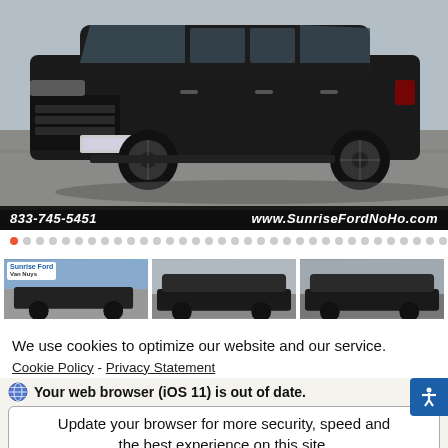[Figure (photo): Black Ford Flex SUV parked at a dealership lot, front 3/4 view, with black wheels. Dealer overlay bar shows phone number 833-745-5451 and website www.SunriseFordNoHo.com]
[Figure (screenshot): Image carousel dot indicators showing active (red/orange) first dot followed by many grey dots]
[Figure (photo): Three thumbnail images of the vehicle: first with Sunrise Ford Van Nuys dealer logo, second showing front exterior, third showing side/rear exterior]
We use cookies to optimize our website and our service.
Cookie Policy  -  Privacy Statement
Your web browser (iOS 11) is out of date.
Update your browser for more security, speed and the best experience on this site.
Update browser  Ignore